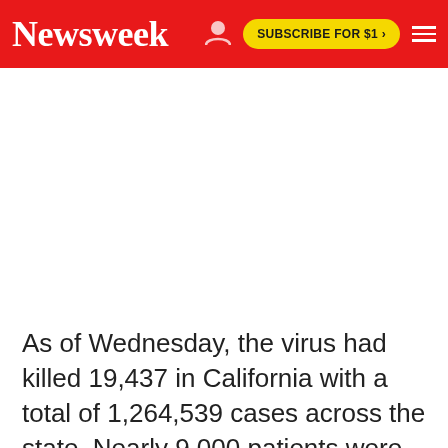Newsweek | SUBSCRIBE FOR $1 >
[Figure (other): Advertisement or blank white space area below the navigation bar]
As of Wednesday, the virus had killed 19,437 in California with a total of 1,264,539 cases across the state. Nearly 9,000 patients were in